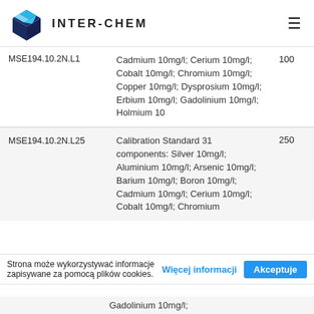INTER-CHEM
| Code | Description | Price |
| --- | --- | --- |
| MSE194.10.2N.L1 | Cadmium 10mg/l; Cerium 10mg/l; Cobalt 10mg/l; Chromium 10mg/l; Copper 10mg/l; Dysprosium 10mg/l; Erbium 10mg/l; Gadolinium 10mg/l; Holmium 10 | 100 |
| MSE194.10.2N.L25 | Calibration Standard 31 components: Silver 10mg/l; Aluminium 10mg/l; Arsenic 10mg/l; Barium 10mg/l; Boron 10mg/l; Cadmium 10mg/l; Cerium 10mg/l; Cobalt 10mg/l; Chromium... | 250 |
Strona może wykorzystywać informacje zapisywane za pomocą plików cookies.
Więcej informacji  Akceptuje
Gadolinium 10mg/l;